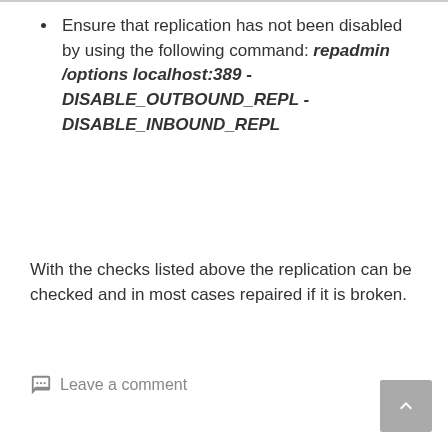Ensure that replication has not been disabled by using the following command: repadmin /options localhost:389 -DISABLE_OUTBOUND_REPL -DISABLE_INBOUND_REPL
With the checks listed above the replication can be checked and in most cases repaired if it is broken.
Leave a comment